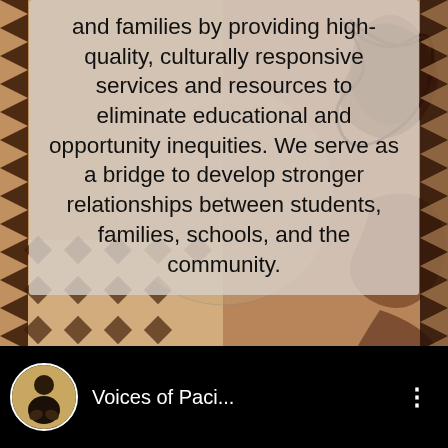[Figure (photo): Polynesian tapa cloth decorative background pattern with geometric and organic motifs in brown, black, cream and tan colors — visible on left and right sides behind a semi-transparent text overlay panel]
and families by providing high-quality, culturally responsive services and resources to eliminate educational and opportunity inequities. We serve as a bridge to develop stronger relationships between students, families, schools, and the community.
[Figure (screenshot): Black bottom bar of a social media video interface showing a circular avatar photo of a person, the channel name 'Voices of Paci...' in white text, and a three-dot menu icon on the right]